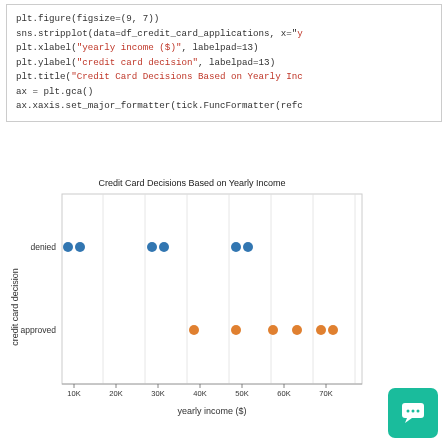plt.figure(figsize=(9, 7))
sns.stripplot(data=df_credit_card_applications, x="y
plt.xlabel("yearly income ($)", labelpad=13)
plt.ylabel("credit card decision", labelpad=13)
plt.title("Credit Card Decisions Based on Yearly Inc
ax = plt.gca()
ax.xaxis.set_major_formatter(tick.FuncFormatter(refc
[Figure (scatter-plot): Strip plot showing credit card decisions (denied/approved) vs yearly income (10K-70K). Denied decisions shown as blue dots, approved as orange dots.]